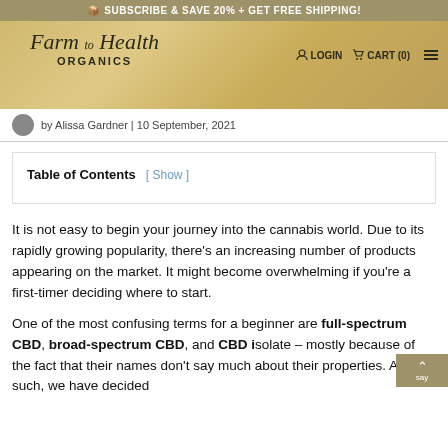📦 SUBSCRIBE & SAVE 20% + GET FREE SHIPPING!
[Figure (screenshot): Farm to Health Organics website header with logo, LOGIN, CART (0) navigation, and golden nature background]
by Alissa Gardner | 10 September, 2021
| Table of Contents |
| --- |
| [ Show ] |
It is not easy to begin your journey into the cannabis world. Due to its rapidly growing popularity, there's an increasing number of products appearing on the market. It might become overwhelming if you're a first-timer deciding where to start.
One of the most confusing terms for a beginner are full-spectrum CBD, broad-spectrum CBD, and CBD isolate – mostly because of the fact that their names don't say much about their properties. As such, we have decided